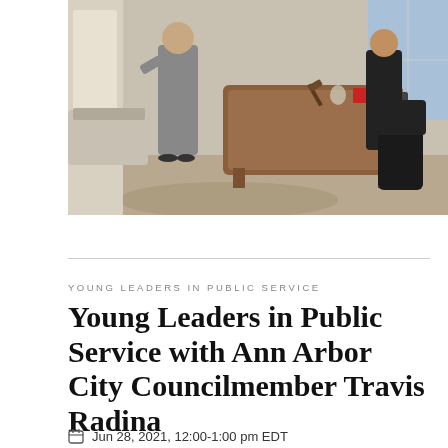[Figure (photo): Two people in a formal office setting with a large wooden desk, resembling the Oval Office. One person in a grey suit stands to the left, another in dark clothing stands to the right near the desk.]
YOUNG LEADERS IN PUBLIC SERVICE
Young Leaders in Public Service with Ann Arbor City Councilmember Travis Radina
Jun 28, 2021, 12:00-1:00 pm EDT